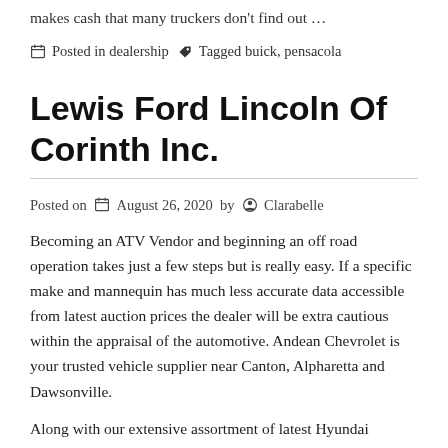makes cash that many truckers don't find out …
Posted in dealership  Tagged buick, pensacola
Lewis Ford Lincoln Of Corinth Inc.
Posted on August 26, 2020  by  Clarabelle
Becoming an ATV Vendor and beginning an off road operation takes just a few steps but is really easy. If a specific make and mannequin has much less accurate data accessible from latest auction prices the dealer will be extra cautious within the appraisal of the automotive. Andean Chevrolet is your trusted vehicle supplier near Canton, Alpharetta and Dawsonville.
Along with our extensive assortment of latest Hyundai fashions, we benchmark our highest consumer from…